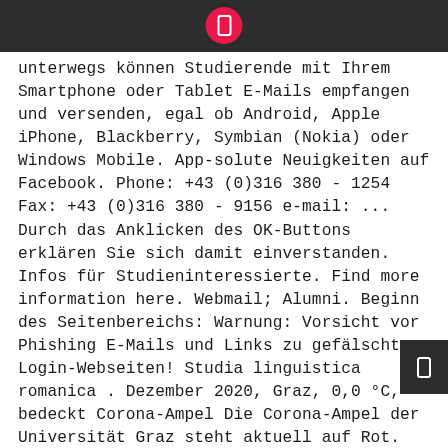unterwegs können Studierende mit Ihrem Smartphone oder Tablet E-Mails empfangen und versenden, egal ob Android, Apple iPhone, Blackberry, Symbian (Nokia) oder Windows Mobile. App-solute Neuigkeiten auf Facebook. Phone: +43 (0)316 380 - 1254 Fax: +43 (0)316 380 - 9156 e-mail: ... Durch das Anklicken des OK-Buttons erklären Sie sich damit einverstanden. Infos für Studieninteressierte. Find more information here. Webmail; Alumni. Beginn des Seitenbereichs: Warnung: Vorsicht vor Phishing E-Mails und Links zu gefälschten Login-Webseiten! Studia linguistica romanica . Dezember 2020, Graz, 0,0 °C, bedeckt Corona-Ampel Die Corona-Ampel der Universität Graz steht aktuell auf Rot. Wartungsarbeiten an Moodle. Go to overview of page sections Begin of page sections: page navigation,